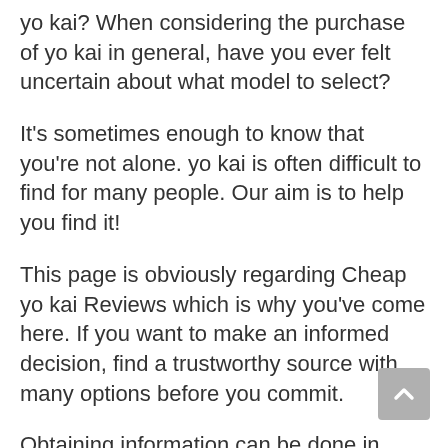yo kai? When considering the purchase of yo kai in general, have you ever felt uncertain about what model to select?
It's sometimes enough to know that you're not alone. yo kai is often difficult to find for many people. Our aim is to help you find it!
This page is obviously regarding Cheap yo kai Reviews which is why you've come here. If you want to make an informed decision, find a trustworthy source with many options before you commit.
Obtaining information can be done in several ways – using online buying guides,